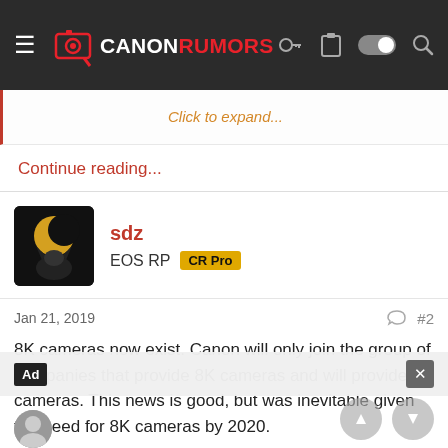CANONRUMORS
Click to expand...
Continue reading...
sdz
EOS RP  CR Pro
Jan 21, 2019  #2
8K cameras now exist. Canon will only join the group of companies that provide 8K cameras and will provide 8K cameras. This news is good, but was inevitable given the need for 8K cameras by 2020.
1 user
Ad